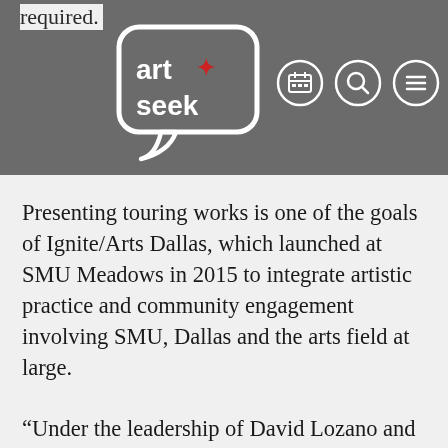required.
[Figure (logo): ArtSeek logo — white speech bubble outline with 'art+seek' text inside, on dark grey background]
[Figure (other): Three circular nav icons: calendar, search, and menu (hamburger), on dark grey background]
Presenting touring works is one of the goals of Ignite/Arts Dallas, which launched at SMU Meadows in 2015 to integrate artistic practice and community engagement involving SMU, Dallas and the arts field at large.
“Under the leadership of David Lozano and Ariana Cook, Cara Mía has grown significantly as a local theater company over the last five